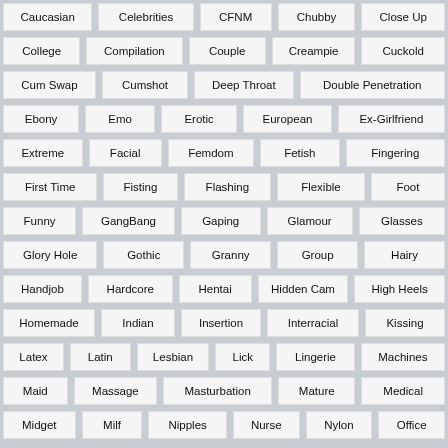Caucasian
Celebrities
CFNM
Chubby
Close Up
College
Compilation
Couple
Creampie
Cuckold
Cum Swap
Cumshot
Deep Throat
Double Penetration
Ebony
Emo
Erotic
European
Ex-Girlfriend
Extreme
Facial
Femdom
Fetish
Fingering
First Time
Fisting
Flashing
Flexible
Foot
Funny
GangBang
Gaping
Glamour
Glasses
Glory Hole
Gothic
Granny
Group
Hairy
Handjob
Hardcore
Hentai
Hidden Cam
High Heels
Homemade
Indian
Insertion
Interracial
Kissing
Latex
Latin
Lesbian
Lick
Lingerie
Machines
Maid
Massage
Masturbation
Mature
Medical
Midget
Milf
Nipples
Nurse
Nylon
Office